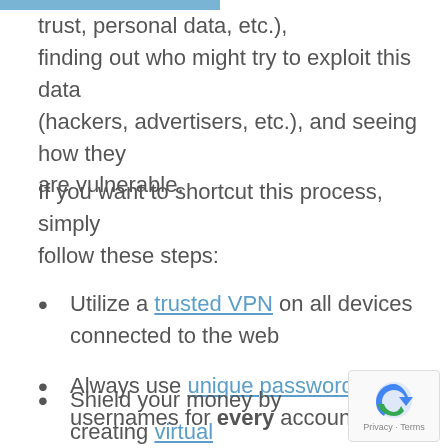trust, personal data, etc.), finding out who might try to exploit this data (hackers, advertisers, etc.), and seeing how they are vulnerable.
If you want to shortcut this process, simply follow these steps:
Utilize a trusted VPN on all devices connected to the web
Always use unique passwords and usernames for every account
Employ 2 Factor Authentication wherever possible
Shield your money by creating virtual